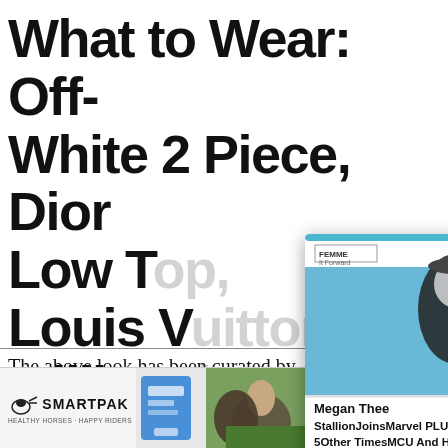What to Wear: Off-White 2 Piece, Dior Low Top, Louis Vuitton Millionaire Sunglasses
[Figure (screenshot): Pop-up overlay card showing a photo of Megan Thee Stallion in a black outfit with caption 'Megan Thee StallionJoinsMarvel PLUS 5Other TimesMCU And Hip H...' with close button and navigation arrow. Blue bar at top, logo 'FEMME It Forward' in corner.]
The above look has been curated by
[Figure (infographic): SmartPak advertisement banner. Shows SmartPak logo with horse icon, a product image, a photo of a woman with a horse, text '50% Off Two Months of ColiCare, ColiCare Eligible Supplements, CODE: COLICARE10', and a blue 'Shop Now' button.]